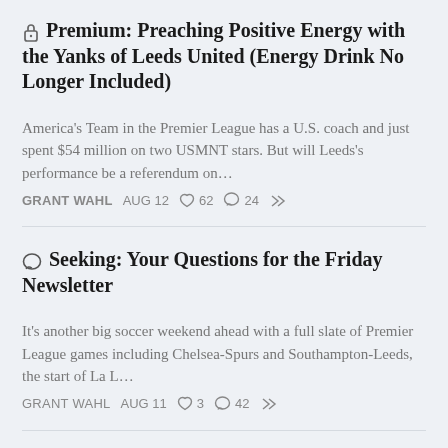Premium: Preaching Positive Energy with the Yanks of Leeds United (Energy Drink No Longer Included)
America's Team in the Premier League has a U.S. coach and just spent $54 million on two USMNT stars. But will Leeds's performance be a referendum on…
🔒 GRANT WAHL  AUG 12  ♡ 62  💬 24  ↗
💬 Seeking: Your Questions for the Friday Newsletter
It's another big soccer weekend ahead with a full slate of Premier League games including Chelsea-Spurs and Southampton-Leeds, the start of La L…
GRANT WAHL  AUG 11  ♡ 3  💬 42  ↗
The Interview: Heather O'Reilly
The World Cup and Olympic champion explains why she came out of retirement to join Irish champion Shelbourne FC…